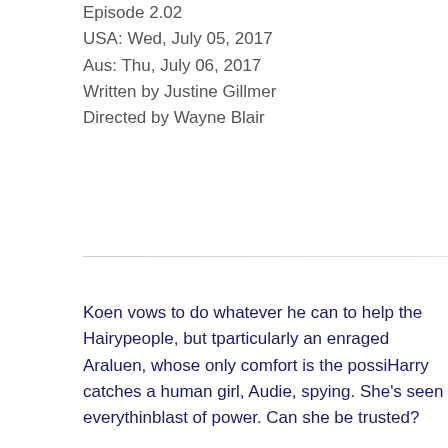Episode 2.02
USA: Wed, July 05, 2017
Aus: Thu, July 06, 2017
Written by Justine Gillmer
Directed by Wayne Blair
Koen vows to do whatever he can to help the Hairypeople, but t… particularly an enraged Araluen, whose only comfort is the possi… Harry catches a human girl, Audie, spying. She's seen everythin… blast of power. Can she be trusted?
After a successful pitch to Frith, Waruu takes a job in governme… Inclusion Initiative — a program of chemical assimilation for Hai… see Waruu on TV; front and center of the official launch of the pr…